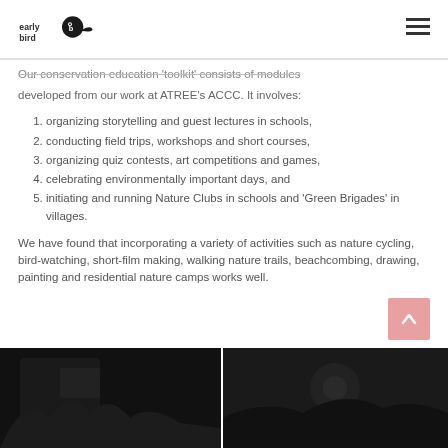early bird logo and navigation
Our conservation education 'toolkit' consists of modules developed from our work at ATREE's ACCC. It involves:
organizing storytelling and guest lectures in schools,
conducting field trips, workshops and short courses,
organizing quiz contests, art competitions and games,
celebrating environmentally important days, and
initiating and running Nature Clubs in schools and 'Green Brigades' in villages.
We have found that incorporating a variety of activities such as nature cycling, bird-watching, short-film making, walking nature trails, beachcombing, drawing, painting and residential nature camps works well.
[Figure (photo): Two dark nature/wildlife photos at the bottom of the page]
[Figure (photo): Second dark nature/wildlife photo]